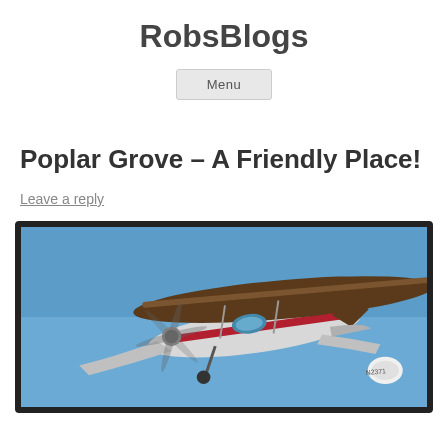RobsBlogs
Menu
Poplar Grove – A Friendly Place!
Leave a reply
[Figure (photo): A vintage small propeller airplane, white and red, photographed from below against a clear blue sky. The aircraft is in flight showing its underside, wings, spinning propeller, and landing gear.]